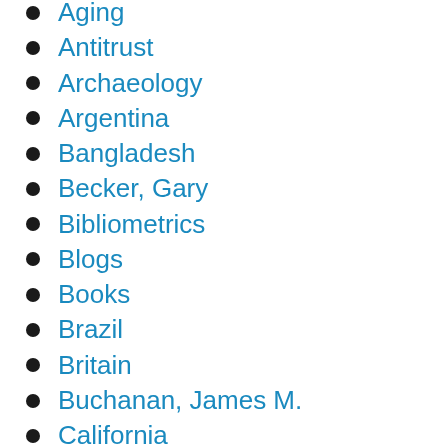Aging
Antitrust
Archaeology
Argentina
Bangladesh
Becker, Gary
Bibliometrics
Blogs
Books
Brazil
Britain
Buchanan, James M.
California
Capitalism
China
Christensen, Clayton